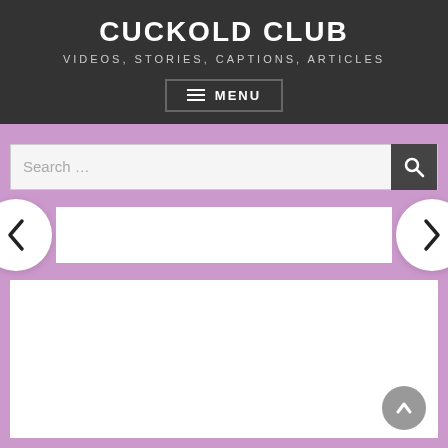CUCKOLD CLUB
VIDEOS, STORIES, CAPTIONS, ARTICLES
≡ MENU
[Figure (screenshot): Search bar with search icon button]
[Figure (other): Navigation slider area with left arrow circle, white content strip, right arrow circle, and white content area below. Back-to-top arrow button at bottom right.]